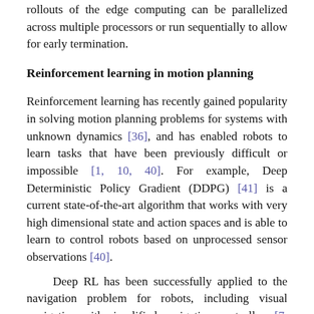rollouts of the edge computing can be parallelized across multiple processors or run sequentially to allow for early termination.
Reinforcement learning in motion planning
Reinforcement learning has recently gained popularity in solving motion planning problems for systems with unknown dynamics [36], and has enabled robots to learn tasks that have been previously difficult or impossible [1, 10, 40]. For example, Deep Deterministic Policy Gradient (DDPG) [41] is a current state-of-the-art algorithm that works with very high dimensional state and action spaces and is able to learn to control robots based on unprocessed sensor observations [40].
Deep RL has been successfully applied to the navigation problem for robots, including visual navigation with simplified navigation controllers [7, 14, 25, 50, 56, 64], more realistic controllers environments in gamelike environments [6, 13, 48], extracting navigation features from